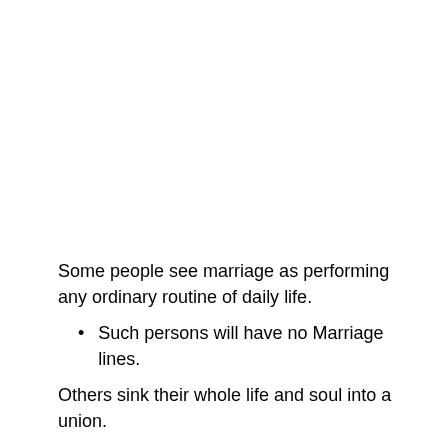Some people see marriage as performing any ordinary routine of daily life.
Such persons will have no Marriage lines.
Others sink their whole life and soul into a union.
These will have deep Marriage lines.
Using “marriage” with the lines of Affection is